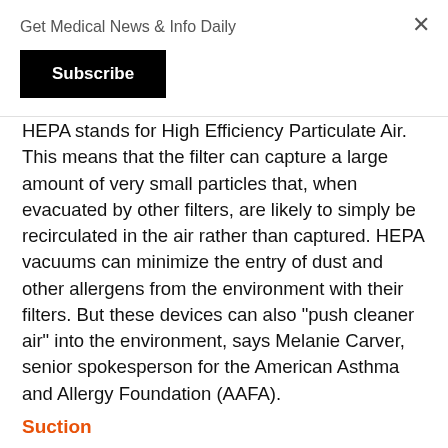Get Medical News & Info Daily
Subscribe
HEPA stands for High Efficiency Particulate Air. This means that the filter can capture a large amount of very small particles that, when evacuated by other filters, are likely to simply be recirculated in the air rather than captured. HEPA vacuums can minimize the entry of dust and other allergens from the environment with their filters. But these devices can also "push cleaner air" into the environment, says Melanie Carver, senior spokesperson for the American Asthma and Allergy Foundation (AAFA).
Suction
Powerful suction is another important consideration when buying a vacuum cleaner, as it determines how well a machine can remove particles from its surroundings. The more suction power, the more dirt, debris, and allergens the device can remove, resulting in higher machine